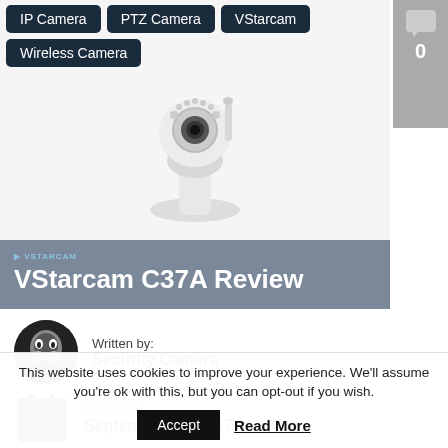IP Camera | PTZ Camera | VStarcam | Wireless Camera
[Figure (photo): White PTZ/pan-tilt IP security camera on white background with VStarcam logo]
VStarcam C37A Review
Written by: Security Camera
Posted on: September 30, 2017
This website uses cookies to improve your experience. We'll assume you're ok with this, but you can opt-out if you wish.
Accept | Read More